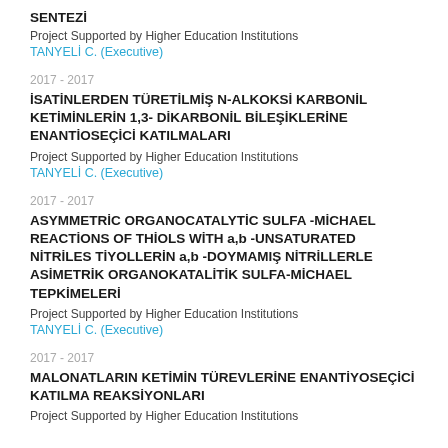SENTEZİ
Project Supported by Higher Education Institutions
TANYELİ C. (Executive)
2017 - 2017
İSATİNLERDEN TÜRETİLMİŞ N-ALKOKSİ KARBONİL KETİMİNLERİN 1,3- DİKARBONİL BİLEŞİKLERİNE ENANTİOSEÇİCİ KATILMALARI
Project Supported by Higher Education Institutions
TANYELİ C. (Executive)
2017 - 2017
ASYMMETRİC ORGANOCATALYTİC SULFA -MİCHAEL REACTİONS OF THİOLS WİTH a,b -UNSATURATED NİTRİLES TİYOLLERİN a,b -DOYMAMIŞ NİTRİLLERLE ASİMETRİK ORGANOKATALİTİK SULFA-MİCHAEL TEPKİMELERİ
Project Supported by Higher Education Institutions
TANYELİ C. (Executive)
2017 - 2017
MALONATLARIN KETİMİN TÜREVLERİNE ENANTİYOSEÇİCİ KATILMA REAKSİYONLARI
Project Supported by Higher Education Institutions